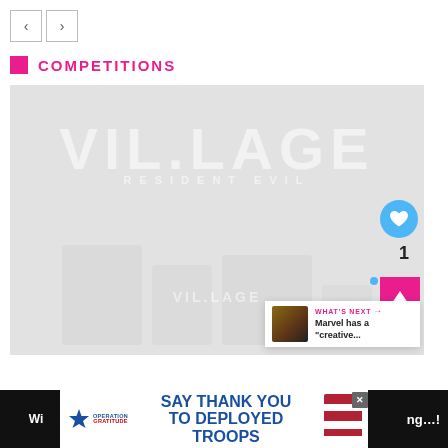[Figure (screenshot): Navigation arrow buttons (back and forward) in gray bordered boxes]
COMPETITIONS
[Figure (screenshot): Resident Evil Village game promotional image with large stylized 'VIL.LAGE' logo text and 'RESIDENT EVIL' subtitle on light gray background, with blurred game merchandise/items at bottom. Overlaid with a blue heart/like button showing count of 1, a pink scroll-to-top button, and a 'What's Next' panel showing 'Marvel has a creative...' with thumbnail.]
[Figure (screenshot): Advertisement banner for Operation Gratitude reading 'SAY THANK YOU TO DEPLOYED TROOPS' with patriotic imagery and a close button]